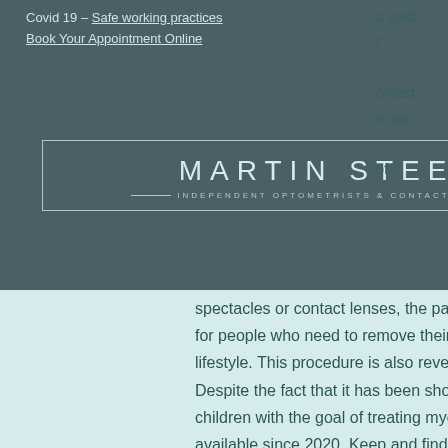Covid 19 – Safe working practices
Book Your Appointment Online
[Figure (logo): Martin Steels Ltd logo — Independent Optometrists & Contact Lens Practitioners]
spectacles or contact lenses, the patient will be able to see perfectly. This is also excellent for people who need to remove their spectacles or contact lenses due to their active lifestyle. This procedure is also reversible, which appeals to a large number of people. Despite the fact that it has been shown to be effective, this is an off-license use for children with the goal of treating myopia. In our Emsworth practise, OrthoK has been available since 2020. Keep and find out more!